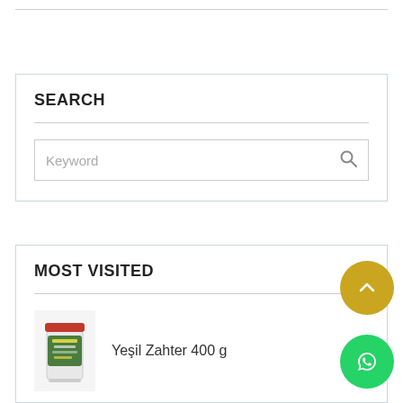SEARCH
Keyword
MOST VISITED
Yeşil Zahter 400 g
[Figure (illustration): Product image of Yeşil Zahter 400g spice jar with green label]